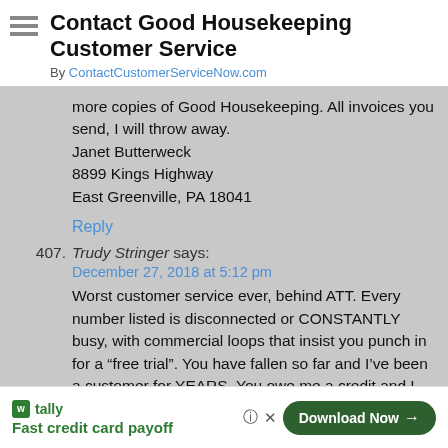Contact Good Housekeeping Customer Service
By ContactCustomerServiceNow.com
more copies of Good Housekeeping. All invoices you send, I will throw away.
Janet Butterweck
8899 Kings Highway
East Greenville, PA 18041
Reply
407. Trudy Stringer says:
December 27, 2018 at 5:12 pm
Worst customer service ever, behind ATT. Every number listed is disconnected or CONSTANTLY busy, with commercial loops that insist you punch in for a “free trial”. You have fallen so far and I’ve been a customer for YEARS. You owe me a credit and I can not get through to explain. Please contact me at 314-293-9920. You put an unauthorized charge on my credit card and I am about to report you for fraud. You owe me $7.97 for a cancelled subscription.
[Figure (infographic): Tally app advertisement: Fast credit card payoff, Download Now button]